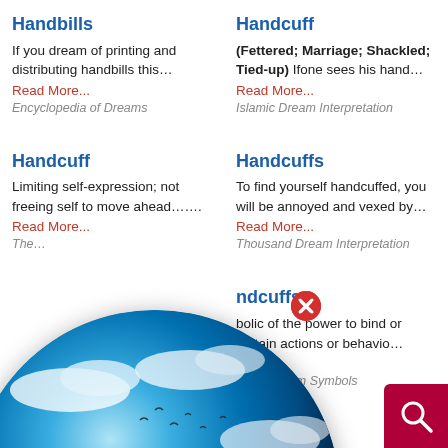Handbills
If you dream of printing and distributing handbills this…
Read More...
Encyclopedia of Dreams
Handcuff
(Fettered; Marriage; Shackled; Tied-up) Ifone sees his hand… Read More...
Islamic Dream Interpretation
Handcuff
Limiting self-expression; not freeing self to move ahead……..
Read More...
The…
Handcuffs
To find yourself handcuffed, you will be annoyed and vexed by…
Read More...
Thousand Dream Interpretation
Handcuffs
bolic of the power to bind or certain actions or behavio…
Read More...
istian Dream Symbols
Handcuffs
Your hands are tied! There is something you really want to d…
Read More...
[Figure (logo): Dream Encyclopedia globe logo with blue globe, clouds, birds, and Dream Encyclopedia text overlay]